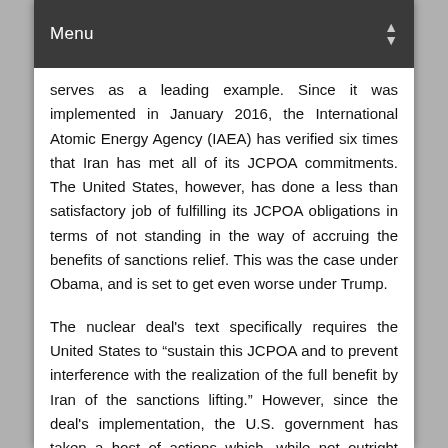Menu
serves as a leading example. Since it was implemented in January 2016, the International Atomic Energy Agency (IAEA) has verified six times that Iran has met all of its JCPOA commitments. The United States, however, has done a less than satisfactory job of fulfilling its JCPOA obligations in terms of not standing in the way of accruing the benefits of sanctions relief. This was the case under Obama, and is set to get even worse under Trump.
The nuclear deal's text specifically requires the United States to “sustain this JCPOA and to prevent interference with the realization of the full benefit by Iran of the sanctions lifting.” However, since the deal's implementation, the U.S. government has taken a host of actions which, while not outright violating the deal, run